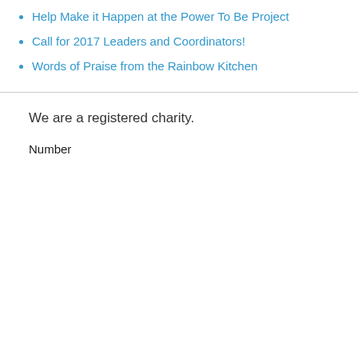Help Make it Happen at the Power To Be Project
Call for 2017 Leaders and Coordinators!
Words of Praise from the Rainbow Kitchen
We are a registered charity.
Number